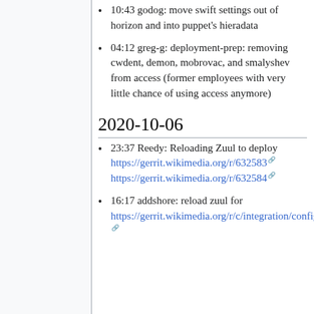10:43 godog: move swift settings out of horizon and into puppet's hieradata
04:12 greg-g: deployment-prep: removing cwdent, demon, mobrovac, and smalyshev from access (former employees with very little chance of using access anymore)
2020-10-06
23:37 Reedy: Reloading Zuul to deploy https://gerrit.wikimedia.org/r/632583 https://gerrit.wikimedia.org/r/632584
16:17 addshore: reload zuul for https://gerrit.wikimedia.org/r/c/integration/config/+/632510